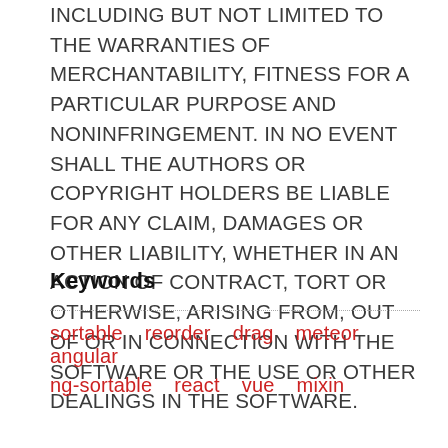INCLUDING BUT NOT LIMITED TO THE WARRANTIES OF MERCHANTABILITY, FITNESS FOR A PARTICULAR PURPOSE AND NONINFRINGEMENT. IN NO EVENT SHALL THE AUTHORS OR COPYRIGHT HOLDERS BE LIABLE FOR ANY CLAIM, DAMAGES OR OTHER LIABILITY, WHETHER IN AN ACTION OF CONTRACT, TORT OR OTHERWISE, ARISING FROM, OUT OF OR IN CONNECTION WITH THE SOFTWARE OR THE USE OR OTHER DEALINGS IN THE SOFTWARE.
Keywords
sortable   reorder   drag   meteor   angular   ng-sortable   react   vue   mixin